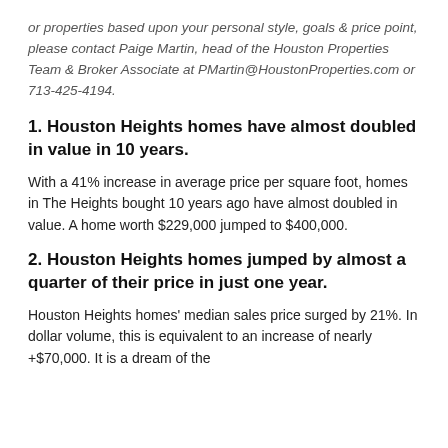or properties based upon your personal style, goals & price point, please contact Paige Martin, head of the Houston Properties Team & Broker Associate at PMartin@HoustonProperties.com or 713-425-4194.
1. Houston Heights homes have almost doubled in value in 10 years.
With a 41% increase in average price per square foot, homes in The Heights bought 10 years ago have almost doubled in value. A home worth $229,000 jumped to $400,000.
2. Houston Heights homes jumped by almost a quarter of their price in just one year.
Houston Heights homes' median sales price surged by 21%. In dollar volume, this is equivalent to an increase of nearly +$70,000. It is a dream of the...